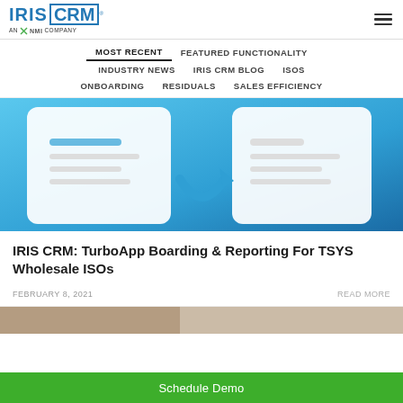IRIS CRM — AN NMI COMPANY
MOST RECENT | FEATURED FUNCTIONALITY | INDUSTRY NEWS | IRIS CRM BLOG | ISOS | ONBOARDING | RESIDUALS | SALES EFFICIENCY
[Figure (illustration): Blue gradient background with a white rounded rectangle card and a blue curved arrow graphic, suggesting a data transfer or boarding workflow UI screenshot]
IRIS CRM: TurboApp Boarding & Reporting For TSYS Wholesale ISOs
FEBRUARY 8, 2021
READ MORE
[Figure (photo): Partially visible photo at the bottom of the page, brown/warm tones, appears to be an office or outdoor setting]
Schedule Demo